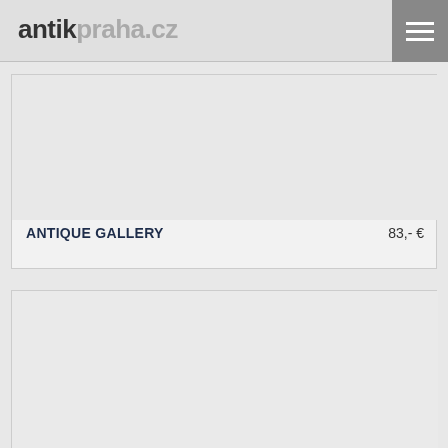antikpraha.cz
ANTIQUE GALLERY    83,- €
[Figure (photo): Empty placeholder image area for a second antique gallery product listing]